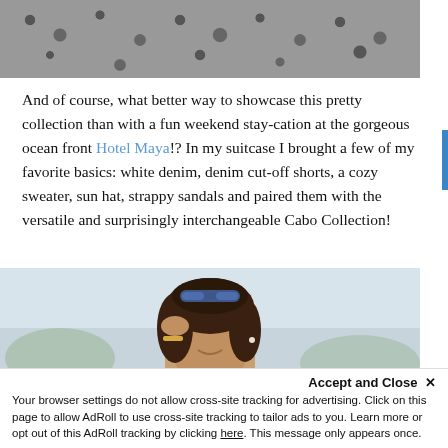[Figure (photo): Top cropped photo showing a textured stone/pebble wall background, dark grey and white speckled pattern]
And of course, what better way to showcase this pretty collection than with a fun weekend stay-cation at the gorgeous ocean front Hotel Maya!? In my suitcase I brought a few of my favorite basics: white denim, denim cut-off shorts, a cozy sweater, sun hat, strappy sandals and paired them with the versatile and surprisingly interchangeable Cabo Collection!
[Figure (photo): Photo of a smiling young woman with long brown hair holding sunglasses on top of her head, wearing a bracelet, with a blurred outdoor background]
Accept and Close ×
Your browser settings do not allow cross-site tracking for advertising. Click on this page to allow AdRoll to use cross-site tracking to tailor ads to you. Learn more or opt out of this AdRoll tracking by clicking here. This message only appears once.